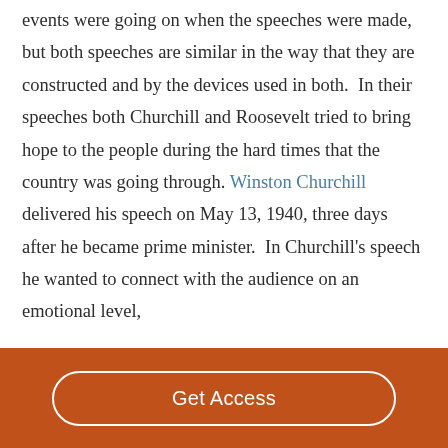events were going on when the speeches were made, but both speeches are similar in the way that they are constructed and by the devices used in both.  In their speeches both Churchill and Roosevelt tried to bring hope to the people during the hard times that the country was going through. Winston Churchill delivered his speech on May 13, 1940, three days after he became prime minister.  In Churchill's speech he wanted to connect with the audience on an emotional level,
Get Access